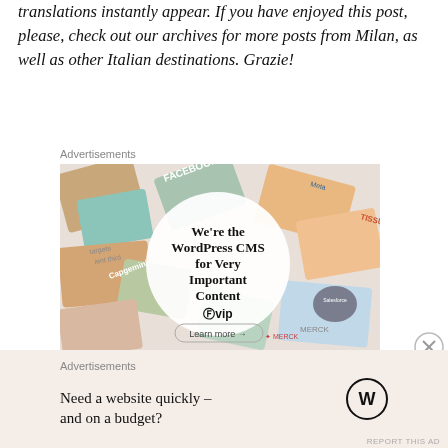translations instantly appear. If you have enjoyed this post, please, check out our archives for more posts from Milan, as well as other Italian destinations. Grazie!
Advertisements
[Figure (screenshot): WordPress VIP advertisement banner showing colorful magazine covers with text 'We're the WordPress CMS for Very Important Content' with WordPress VIP logo and 'Learn more' button]
Advertisements
Need a website quickly – and on a budget?